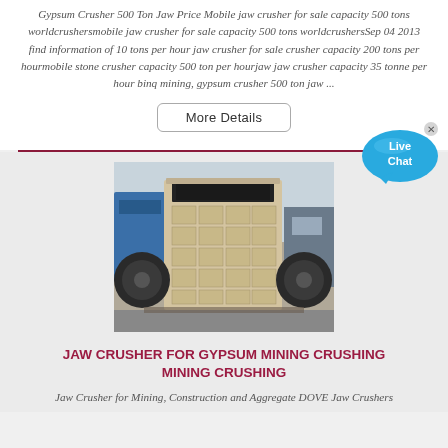Gypsum Crusher 500 Ton Jaw Price Mobile jaw crusher for sale capacity 500 tons worldcrushersmobile jaw crusher for sale capacity 500 tons worldcrushersSep 04 2013 find information of 10 tons per hour jaw crusher for sale crusher capacity 200 tons per hourmobile stone crusher capacity 500 ton per hourjaw jaw crusher capacity 35 tonne per hour binq mining, gypsum crusher 500 ton jaw ...
[Figure (other): Live Chat button badge — speech bubble icon with text 'Live Chat']
[Figure (photo): Photo of a large industrial jaw/impact crusher machine in a factory setting, beige/cream colored with multiple bolt-on wear plates, industrial equipment visible in background]
JAW CRUSHER FOR GYPSUM MINING CRUSHING MINING CRUSHING
Jaw Crusher for Mining, Construction and Aggregate DOVE Jaw Crushers